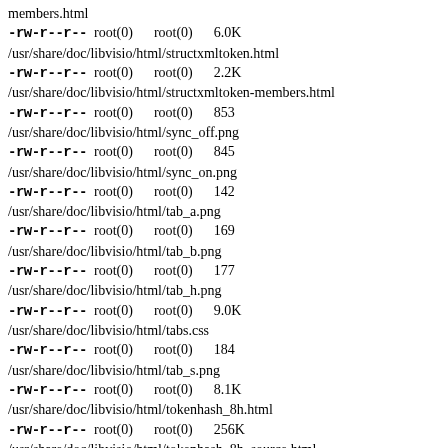members.html
-rw-r--r--  root(0)      root(0)      6.0K /usr/share/doc/libvisio/html/structxmltoken.html
-rw-r--r--  root(0)      root(0)      2.2K /usr/share/doc/libvisio/html/structxmltoken-members.html
-rw-r--r--  root(0)      root(0)      853 /usr/share/doc/libvisio/html/sync_off.png
-rw-r--r--  root(0)      root(0)      845 /usr/share/doc/libvisio/html/sync_on.png
-rw-r--r--  root(0)      root(0)      142 /usr/share/doc/libvisio/html/tab_a.png
-rw-r--r--  root(0)      root(0)      169 /usr/share/doc/libvisio/html/tab_b.png
-rw-r--r--  root(0)      root(0)      177 /usr/share/doc/libvisio/html/tab_h.png
-rw-r--r--  root(0)      root(0)      9.0K /usr/share/doc/libvisio/html/tabs.css
-rw-r--r--  root(0)      root(0)      184 /usr/share/doc/libvisio/html/tab_s.png
-rw-r--r--  root(0)      root(0)      8.1K /usr/share/doc/libvisio/html/tokenhash_8h.html
-rw-r--r--  root(0)      root(0)      256K /usr/share/doc/libvisio/html/tokenhash_8h_source.html